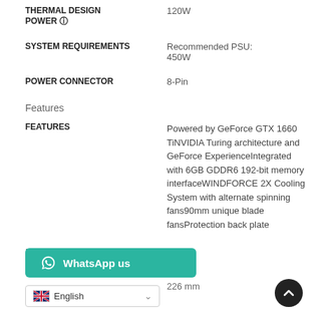| Label | Value |
| --- | --- |
| THERMAL DESIGN POWER ⓘ | 120W |
| SYSTEM REQUIREMENTS | Recommended PSU: 450W |
| POWER CONNECTOR | 8-Pin |
Features
| Label | Value |
| --- | --- |
| FEATURES | Powered by GeForce GTX 1660 TiNVIDIA Turing architecture and GeForce ExperienceIntegrated with 6GB GDDR6 192-bit memory interfaceWINDFORCE 2X Cooling System with alternate spinning fans90mm unique blade fansProtection back plate |
Form Factor &amp; Dimensions
| Label | Value |
| --- | --- |
|  | ATX |
|  | 226 mm |